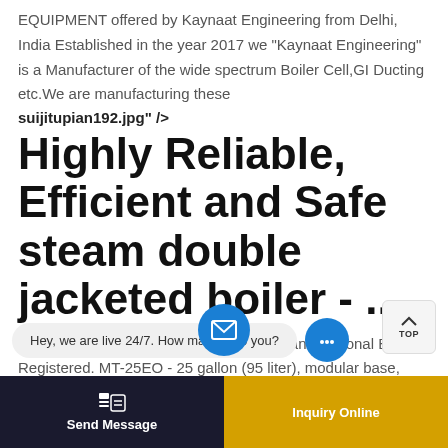EQUIPMENT offered by Kaynaat Engineering from Delhi, India Established in the year 2017 we "Kaynaat Engineering" is a Manufacturer of the wide spectrum Boiler Cell,GI Ducting etc.We are manufacturing these
suijitupian192.jpg" />
Highly Reliable, Efficient and Safe steam double jacketed boiler - ...
Steam boiler shall be ASME constructed and National Board Registered. MT-25EO - 25 gallon (95 liter), modular base, electric, tilting kettle MT-40EO - 40 gallon (151 liter), closed base skillet
Hey, we are live 24/7. How may I help you?
Send Message
Inquiry Online